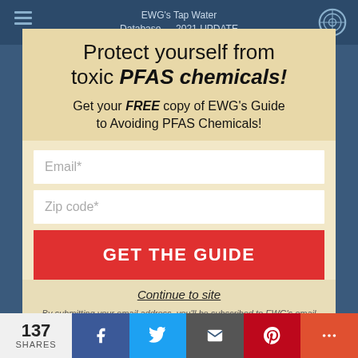EWG's Tap Water Database — 2021 UPDATE
Protect yourself from toxic PFAS chemicals!
Get your FREE copy of EWG's Guide to Avoiding PFAS Chemicals!
Email*
Zip code*
GET THE GUIDE
Continue to site
By submitting your email address, you'll be subscribed to EWG's email list. You may opt-out at any time.
137 SHARES